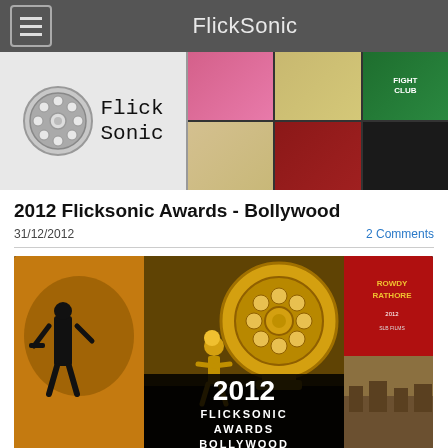FlickSonic
[Figure (screenshot): FlickSonic website banner with film reel logo on left and movie posters collage on right including Fight Club]
2012 Flicksonic Awards - Bollywood
31/12/2012
2 Comments
[Figure (photo): 2012 Flicksonic Awards Bollywood promotional image featuring golden film reel trophy, award statue, Rowdy Rathore movie poster, and text reading 2012 FLICKSONIC AWARDS BOLLYWOOD]